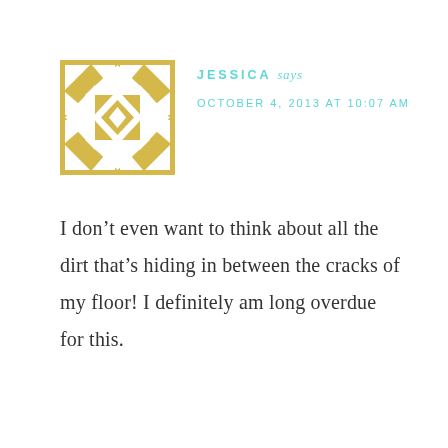[Figure (illustration): Square avatar image with a gold/yellow geometric quilt-style pattern on white background]
JESSICA says
OCTOBER 4, 2013 AT 10:07 AM
I don’t even want to think about all the dirt that’s hiding in between the cracks of my floor! I definitely am long overdue for this.